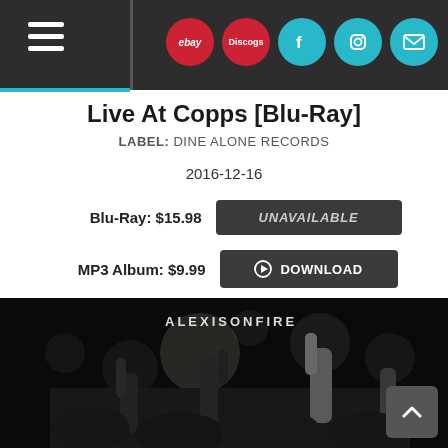Navigation header with eBay, Discogs, Facebook, Instagram, Mail icons
Live At Copps [Blu-Ray]
LABEL: DINE ALONE RECORDS
2016-12-16
Blu-Ray: $15.98  UNAVAILABLE
MP3 Album: $9.99  DOWNLOAD
[Figure (photo): Black and white concert photo showing crowd with hands raised, bokeh lights in background. ALEXISONFIRE text visible at top.]